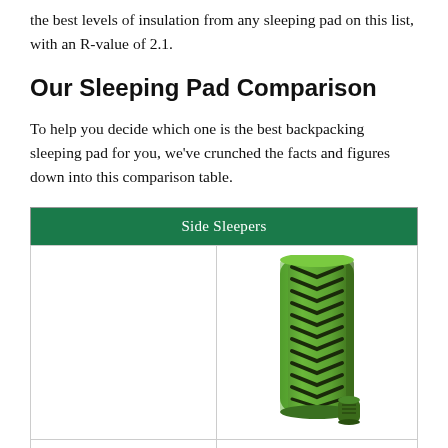the best levels of insulation from any sleeping pad on this list, with an R-value of 2.1.
Our Sleeping Pad Comparison
To help you decide which one is the best backpacking sleeping pad for you, we've crunched the facts and figures down into this comparison table.
| Side Sleepers |
| --- |
|  |  |
|  | Klymit Static V Sleeping |
[Figure (photo): Green and black Klymit Static V inflatable sleeping pad, shown rolled up with its stuff sack next to it.]